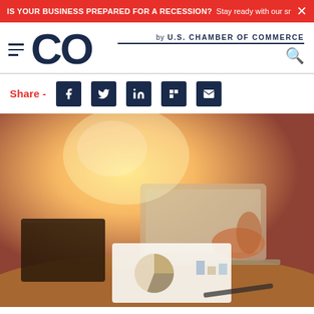IS YOUR BUSINESS PREPARED FOR A RECESSION? Stay ready with our small busin... ×
[Figure (logo): CO— by U.S. Chamber of Commerce logo with hamburger menu and search icon]
Share - [Facebook] [Twitter] [LinkedIn] [Flipboard] [Email]
[Figure (photo): Business professional working on laptop at a desk with financial documents showing charts and graphs, warm orange toned lighting]